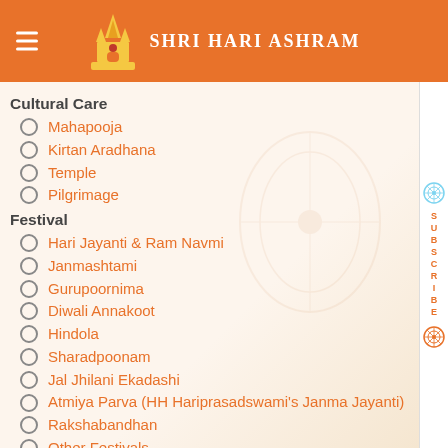Shri Hari Ashram
Cultural Care
Mahapooja
Kirtan Aradhana
Temple
Pilgrimage
Festival
Hari Jayanti & Ram Navmi
Janmashtami
Gurupoornima
Diwali Annakoot
Hindola
Sharadpoonam
Jal Jhilani Ekadashi
Atmiya Parva (HH Hariprasadswami's Janma Jayanti)
Rakshabandhan
Other Festivals